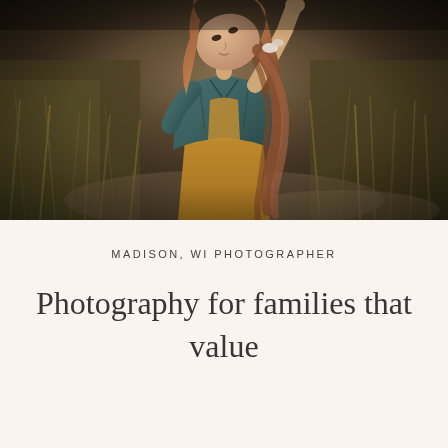[Figure (photo): A young girl with long curly reddish-brown hair, wearing a teal denim jacket and golden/yellow dress, looking upward with one hand raised, standing in a natural outdoor setting with dry grass and bokeh background. Dark, moody, warm-toned portrait photography.]
MADISON, WI PHOTOGRAPHER
Photography for families that value